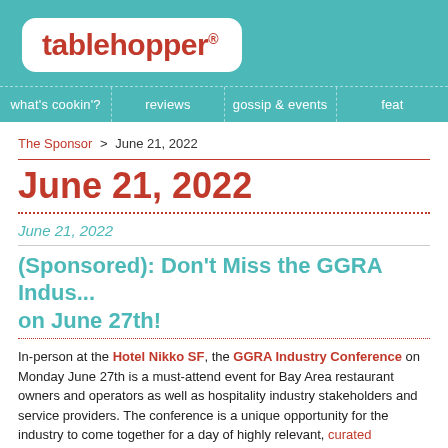[Figure (logo): tablehopper logo with registered trademark symbol on teal background]
what's cookin'?   reviews   gossip & events   feat
The Sponsor > June 21, 2022
June 21, 2022
June 21, 2022
(Sponsored): Don't Miss the GGRA Indus... on June 27th!
In-person at the Hotel Nikko SF, the GGRA Industry Conference on Monday June 27th is a must-attend event for Bay Area restaurant owners and operators as well as hospitality industry stakeholders and service providers. The conference is a unique opportunity for the industry to come together for a day of highly relevant, curated programming.
Tickets are available to current members for $159 (including all programming...